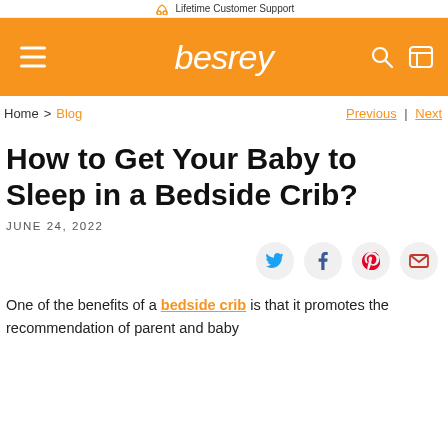Lifetime Customer Support
besrey
Home > Blog
Previous | Next
How to Get Your Baby to Sleep in a Bedside Crib?
JUNE 24, 2022
[Figure (infographic): Social sharing buttons: Twitter, Facebook, Pinterest, Email]
One of the benefits of a bedside crib is that it promotes the recommendation of parent and baby